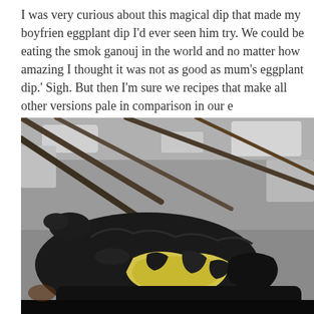I was very curious about this magical dip that made my boyfriend refuse every eggplant dip I'd ever seen him try. We could be eating the smokiest baba ganouj in the world and no matter how amazing I thought it was, 'It's still not as good as mum's eggplant dip.' Sigh. But then I'm sure we all have recipes that make all other versions pale in comparison in our e
[Figure (photo): Close-up photo of a charred, blackened eggplant being cooked over an open fire or grill with sticks and embers visible in the background. The skin of the eggplant is burnt and peeling back, revealing the yellowish flesh inside.]